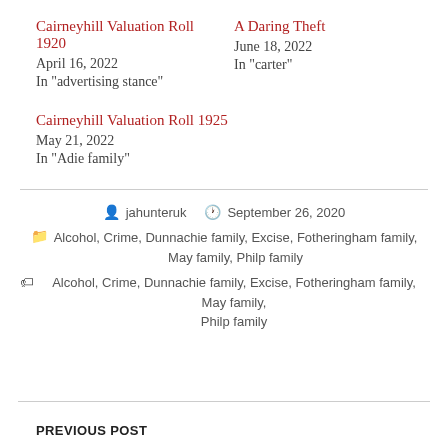Cairneyhill Valuation Roll 1920
April 16, 2022
In "advertising stance"
A Daring Theft
June 18, 2022
In "carter"
Cairneyhill Valuation Roll 1925
May 21, 2022
In "Adie family"
jahunteruk   September 26, 2020
Alcohol, Crime, Dunnachie family, Excise, Fotheringham family, May family, Philp family
Alcohol, Crime, Dunnachie family, Excise, Fotheringham family, May family, Philp family
PREVIOUS POST